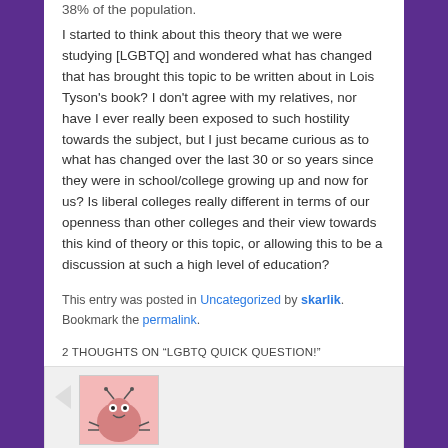38% of the population.
I started to think about this theory that we were studying [LGBTQ] and wondered what has changed that has brought this topic to be written about in Lois Tyson's book? I don't agree with my relatives, nor have I ever really been exposed to such hostility towards the subject, but I just became curious as to what has changed over the last 30 or so years since they were in school/college growing up and now for us? Is liberal colleges really different in terms of our openness than other colleges and their view towards this kind of theory or this topic, or allowing this to be a discussion at such a high level of education?
This entry was posted in Uncategorized by skarlik. Bookmark the permalink.
2 THOUGHTS ON "LGBTQ QUICK QUESTION!"
[Figure (illustration): Comment section opening with a speech bubble arrow and a pink cartoon avatar/bug illustration]